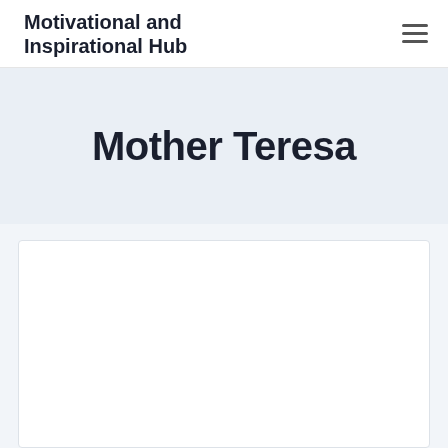Motivational and Inspirational Hub
Mother Teresa
[Figure (other): White content card area at the bottom of the page, partially visible]